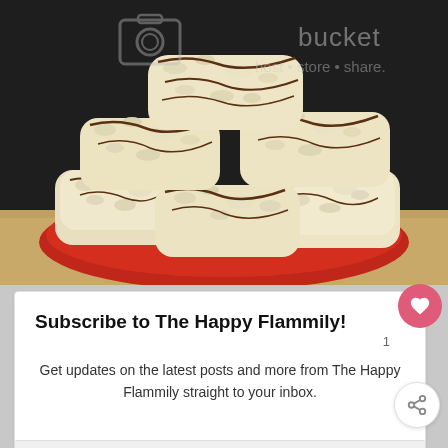[Figure (photo): Photo of coconut macaroon cookies with chocolate drizzle stacked on a red plate on a wooden surface, with a dark background. Photobucket watermark visible.]
Subscribe to The Happy Flammily!
Get updates on the latest posts and more from The Happy Flammily straight to your inbox.